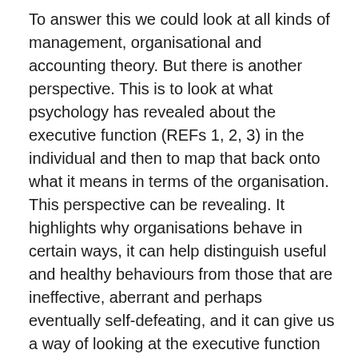To answer this we could look at all kinds of management, organisational and accounting theory. But there is another perspective. This is to look at what psychology has revealed about the executive function (REFs 1, 2, 3) in the individual and then to map that back onto what it means in terms of the organisation. This perspective can be revealing. It highlights why organisations behave in certain ways, it can help distinguish useful and healthy behaviours from those that are ineffective, aberrant and perhaps eventually self-defeating, and it can give us a way of looking at the executive function that is grounded in an increasingly sophisticated understanding of the human condition. It can point the way to making organisations more resilient.
REF 1
YouTube Video, 2012 Burnett Lecture Part 2 ADHD,